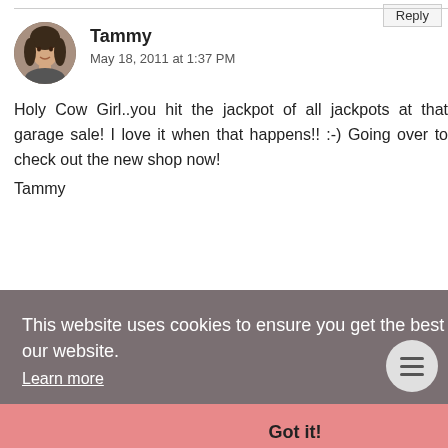Reply
Tammy
May 18, 2011 at 1:37 PM
Holy Cow Girl..you hit the jackpot of all jackpots at that garage sale! I love it when that happens!! :-) Going over to check out the new shop now!
Tammy
Reply
This website uses cookies to ensure you get the best experience on our website.
Learn more
Got it!
. My favorites are the glove box, card holder and that